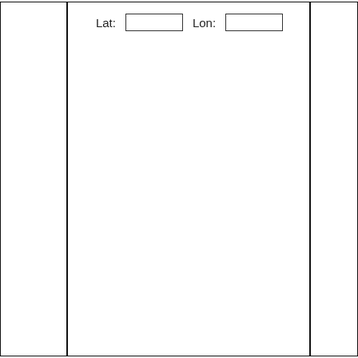Lat: [input field]  Lon: [input field]